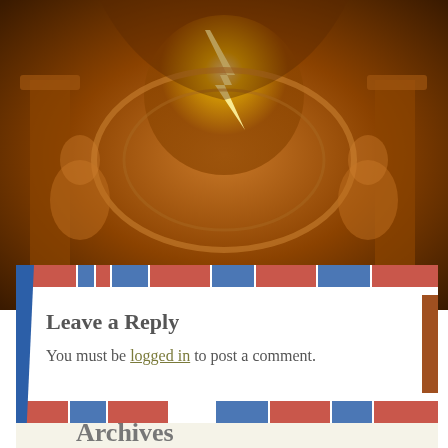[Figure (photo): Ornate golden architectural background with chandelier and decorative ceiling elements, warm amber and brown tones]
Leave a Reply
You must be logged in to post a comment.
Archives
Select Month (dropdown)